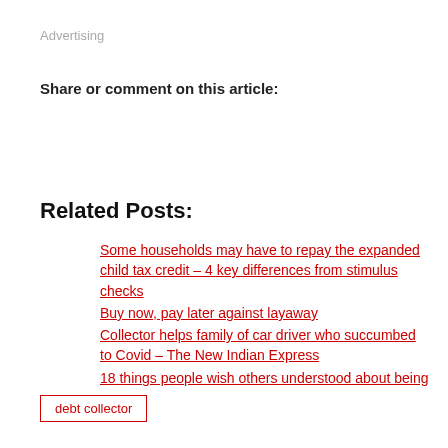Advertising
Share or comment on this article:
Related Posts:
Some households may have to repay the expanded child tax credit – 4 key differences from stimulus checks
Buy now, pay later against layaway
Collector helps family of car driver who succumbed to Covid – The New Indian Express
18 things people wish others understood about being poor
debt collector